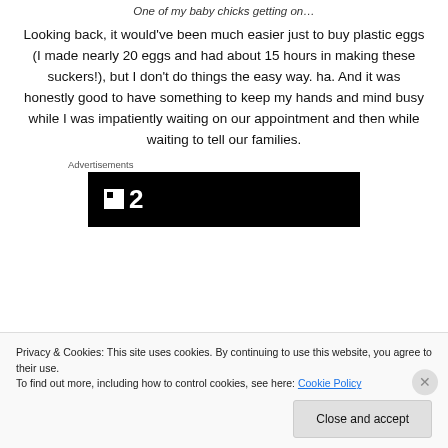One of my baby chicks getting on…
Looking back, it would've been much easier just to buy plastic eggs (I made nearly 20 eggs and had about 15 hours in making these suckers!), but I don't do things the easy way. ha. And it was honestly good to have something to keep my hands and mind busy while I was impatiently waiting on our appointment and then while waiting to tell our families.
Advertisements
[Figure (screenshot): Black advertisement banner with white logo showing a square icon and the number 2]
Privacy & Cookies: This site uses cookies. By continuing to use this website, you agree to their use.
To find out more, including how to control cookies, see here: Cookie Policy
Close and accept